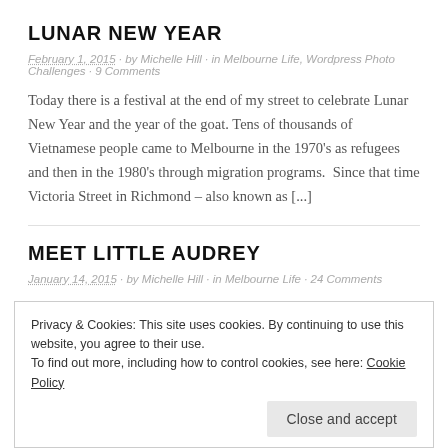LUNAR NEW YEAR
February 1, 2015 · by Michelle Hill · in Melbourne Life, Wordpress Photo Challenges · 9 Comments
Today there is a festival at the end of my street to celebrate Lunar New Year and the year of the goat. Tens of thousands of Vietnamese people came to Melbourne in the 1970's as refugees and then in the 1980's through migration programs.  Since that time Victoria Street in Richmond – also known as [...]
MEET LITTLE AUDREY
January 14, 2015 · by Michelle Hill · in Melbourne Life · 24 Comments
Meet Little Audrey! Audrey has been a hugely popular Melbourne
Privacy & Cookies: This site uses cookies. By continuing to use this website, you agree to their use.
To find out more, including how to control cookies, see here: Cookie Policy
Close and accept